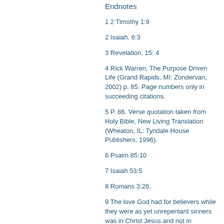Endnotes
1 2 Timothy 1:9
2 Isaiah. 6:3
3 Revelation. 15: 4
4 Rick Warren, The Purpose Driven Life (Grand Rapids, MI: Zondervan, 2002) p. 85. Page numbers only in succeeding citations.
5 P. 86. Verse quotation taken from Holy Bible, New Living Translation (Wheaton, IL: Tyndale House Publishers, 1996).
6 Psalm 85:10
7 Isaiah 53:5
8 Romans 3:26.
9 The love God had for believers while they were as yet unrepentant sinners was in Christ Jesus and not in themselves, that in the ages to come he might